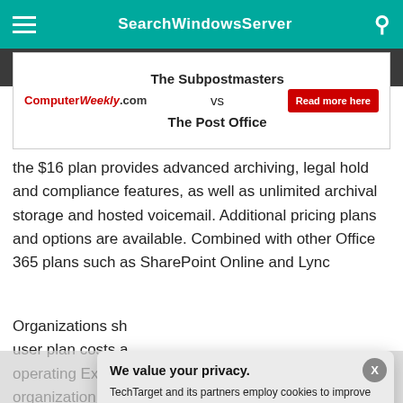SearchWindowsServer
[Figure (infographic): ComputerWeekly.com advertisement banner: 'The Subpostmasters vs The Post Office' with a red 'Read more here' button]
the $16 plan provides advanced archiving, legal hold and compliance features, as well as unlimited archival storage and hosted voicemail. Additional pricing plans and options are available. Combined with other Office 365 plans such as SharePoint Online and Lync
Organizations sh... user plan costs a... operating Excha... organization with... be looking at a $...
But the costs of ... Exchange admi...
We value your privacy.
TechTarget and its partners employ cookies to improve your experience on our site, to analyze traffic and performance, and to serve personalized content and advertising that are relevant to your professional interests. You can manage your settings at any time. Please view our Privacy Policy for more information